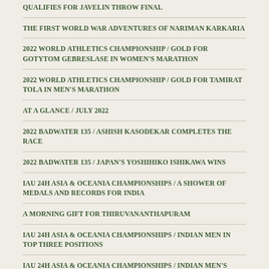QUALIFIES FOR JAVELIN THROW FINAL
THE FIRST WORLD WAR ADVENTURES OF NARIMAN KARKARIA
2022 WORLD ATHLETICS CHAMPIONSHIP / GOLD FOR GOTYTOM GEBRESLASE IN WOMEN'S MARATHON
2022 WORLD ATHLETICS CHAMPIONSHIP / GOLD FOR TAMIRAT TOLA IN MEN'S MARATHON
AT A GLANCE / JULY 2022
2022 BADWATER 135 / ASHISH KASODEKAR COMPLETES THE RACE
2022 BADWATER 135 / JAPAN'S YOSHIHIKO ISHIKAWA WINS
IAU 24H ASIA & OCEANIA CHAMPIONSHIPS / A SHOWER OF MEDALS AND RECORDS FOR INDIA
A MORNING GIFT FOR THIRUVANANTHAPURAM
IAU 24H ASIA & OCEANIA CHAMPIONSHIPS / INDIAN MEN IN TOP THREE POSITIONS
IAU 24H ASIA & OCEANIA CHAMPIONSHIPS / INDIAN MEN'S TEAM POISED FOR STRONG FINISH
“ THE GOAL IS ALWAYS TO BE IN THE OLYMPICS”